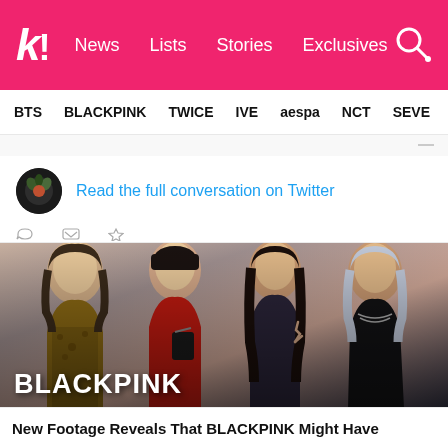k! News Lists Stories Exclusives
BTS BLACKPINK TWICE IVE aespa NCT SEVE
Read the full conversation on Twitter
[Figure (photo): BLACKPINK group photo — four members posing in fashionable outfits with BLACKPINK text overlay]
New Footage Reveals That BLACKPINK Might Have